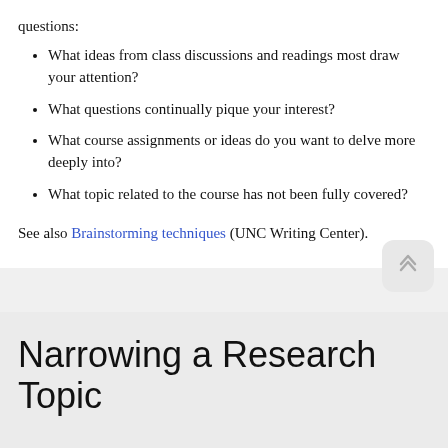questions:
What ideas from class discussions and readings most draw your attention?
What questions continually pique your interest?
What course assignments or ideas do you want to delve more deeply into?
What topic related to the course has not been fully covered?
See also Brainstorming techniques (UNC Writing Center).
Narrowing a Research Topic